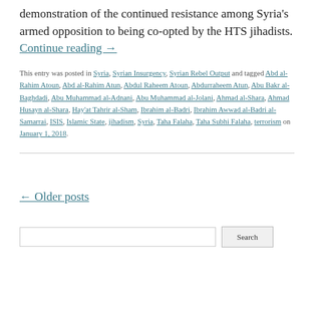demonstration of the continued resistance among Syria's armed opposition to being co-opted by the HTS jihadists. Continue reading →
This entry was posted in Syria, Syrian Insurgency, Syrian Rebel Output and tagged Abd al-Rahim Atoun, Abd al-Rahim Atun, Abdul Raheem Atoun, Abdurraheem Atun, Abu Bakr al-Baghdadi, Abu Muhammad al-Adnani, Abu Muhammad al-Jolani, Ahmad al-Shara, Ahmad Husayn al-Shara, Hay'at Tahrir al-Sham, Ibrahim al-Badri, Ibrahim Awwad al-Badri al-Samarrai, ISIS, Islamic State, jihadism, Syria, Taha Falaha, Taha Subhi Falaha, terrorism on January 1, 2018.
← Older posts
Search